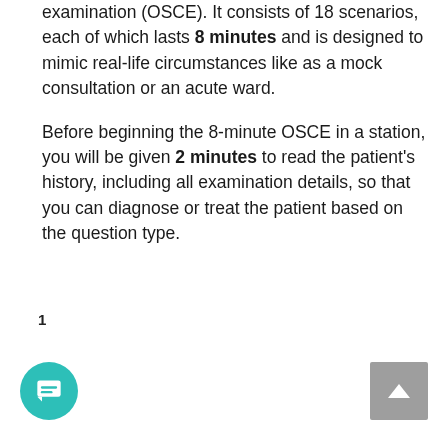examination (OSCE). It consists of 18 scenarios, each of which lasts 8 minutes and is designed to mimic real-life circumstances like as a mock consultation or an acute ward.
Before beginning the 8-minute OSCE in a station, you will be given 2 minutes to read the patient's history, including all examination details, so that you can diagnose or treat the patient based on the question type.
1